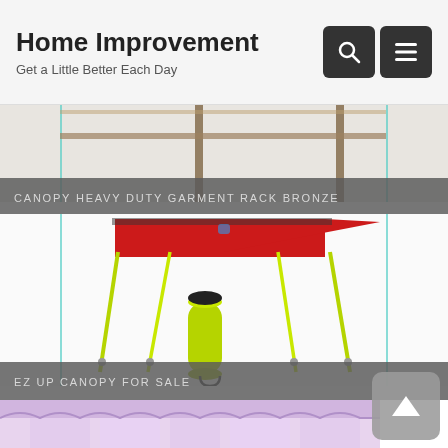Home Improvement
Get a Little Better Each Day
[Figure (photo): Canopy heavy duty garment rack in bronze color, poles visible against light background]
CANOPY HEAVY DUTY GARMENT RACK BRONZE
[Figure (photo): EZ Up canopy with red top and yellow-green poles, with a yellow carrying bag on the ground]
EZ UP CANOPY FOR SALE
[Figure (photo): Pink and purple decorative canopy with sheer fabric and ruffled trim, partially visible]